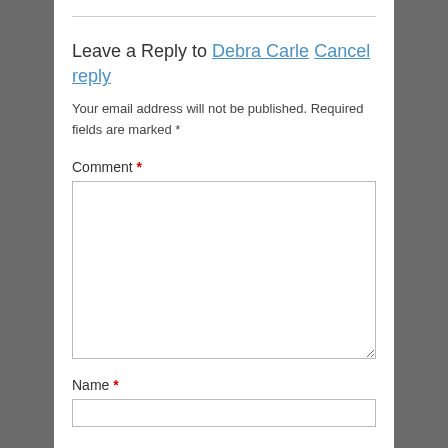Leave a Reply to Debra Carle Cancel reply
Your email address will not be published. Required fields are marked *
Comment *
[Figure (other): Empty comment textarea input box]
Name *
[Figure (other): Empty name text input box]